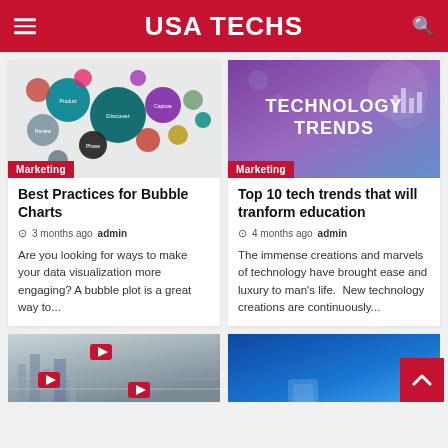USA TECHS
[Figure (illustration): Bubble chart visualization with colorful circles of various sizes on light background]
Marketing
Best Practices for Bubble Charts
3 months ago  admin
Are you looking for ways to make your data visualization more engaging? A bubble plot is a great way to...
[Figure (photo): Technology Trends banner with glowing purple/blue tech background and text overlay]
Marketing
Top 10 tech trends that will tranform education
4 months ago  admin
The immense creations and marvels of technology have brought ease and luxury to man's life.  New technology creations are continuously...
[Figure (photo): Aerial city view with YouTube play buttons overlaid]
[Figure (photo): Blue gradient background, partial view]